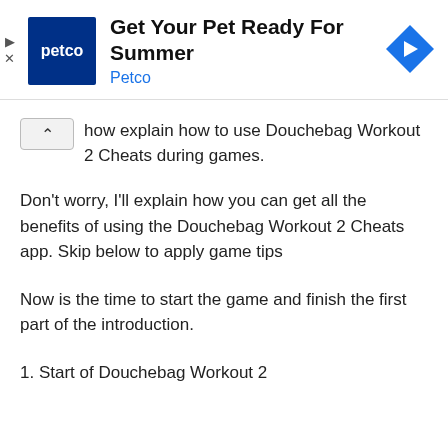[Figure (other): Petco advertisement banner with Petco logo, headline 'Get Your Pet Ready For Summer', subtext 'Petco', and a blue diamond navigation icon]
how explain how to use Douchebag Workout 2 Cheats during games.
Don't worry, I'll explain how you can get all the benefits of using the Douchebag Workout 2 Cheats app. Skip below to apply game tips
Now is the time to start the game and finish the first part of the introduction.
1. Start of Douchebag Workout 2